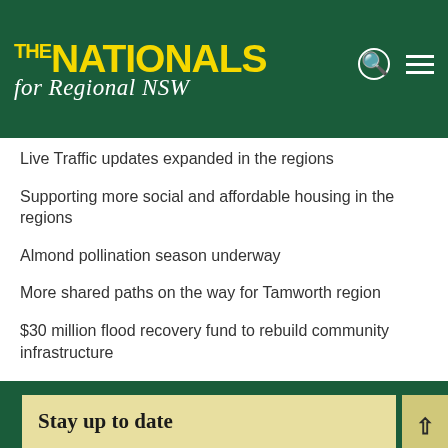THE NATIONALS for Regional NSW
Live Traffic updates expanded in the regions
Supporting more social and affordable housing in the regions
Almond pollination season underway
More shared paths on the way for Tamworth region
$30 million flood recovery fund to rebuild community infrastructure
Stay up to date